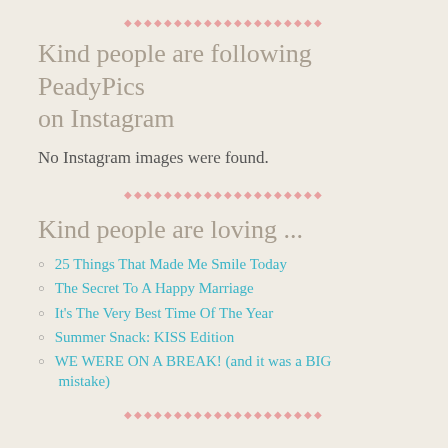♦♦♦♦♦♦♦♦♦♦♦♦♦♦♦♦♦♦♦♦
Kind people are following PeadyPics on Instagram
No Instagram images were found.
♦♦♦♦♦♦♦♦♦♦♦♦♦♦♦♦♦♦♦♦
Kind people are loving ...
25 Things That Made Me Smile Today
The Secret To A Happy Marriage
It's The Very Best Time Of The Year
Summer Snack: KISS Edition
WE WERE ON A BREAK! (and it was a BIG mistake)
♦♦♦♦♦♦♦♦♦♦♦♦♦♦♦♦♦♦♦♦